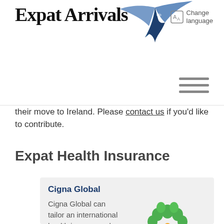Expat Arrivals
their move to Ireland. Please contact us if you'd like to contribute.
Expat Health Insurance
[Figure (logo): Cigna Global logo with tree and person icon above 'Cigna.' text in blue]
Cigna Global
Cigna Global can tailor an international health insurance plan to perfectly fit the needs of you and your family. With 86 million customers in over 200 countries, Cigna Global has